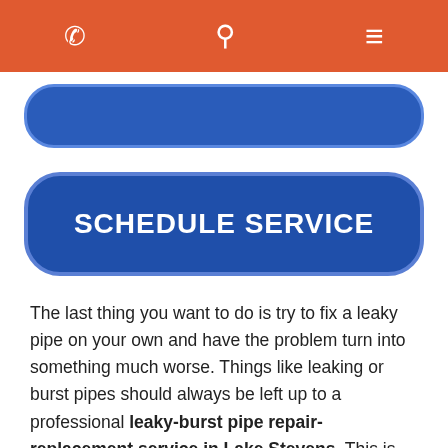Navigation bar with phone, location, and menu icons
[Figure (other): Blue rounded rectangle button (partial, top crop)]
SCHEDULE SERVICE
The last thing you want to do is try to fix a leaky pipe on your own and have the problem turn into something much worse. Things like leaking or burst pipes should always be left up to a professional leaky-burst pipe repair-replacement service in Lake Stevens. This is why you should think about contacting us at Trident Plumbing and Drain Cleaning when you are faced with a plumbing leak of any kind, big or small.
If the water is not turned off to this leaking or burst pipe as soon as possible, you can be in for a world of water damage in your home. We can be there quickly so that we can fully assess the piping situation that you have going on